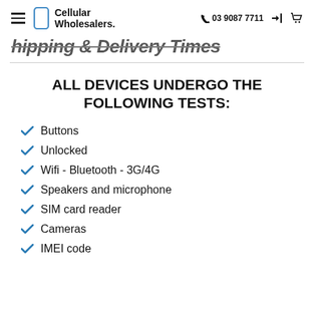Cellular Wholesalers. | 03 9087 7711
Shipping & Delivery Times
ALL DEVICES UNDERGO THE FOLLOWING TESTS:
Buttons
Unlocked
Wifi - Bluetooth - 3G/4G
Speakers and microphone
SIM card reader
Cameras
IMEI code